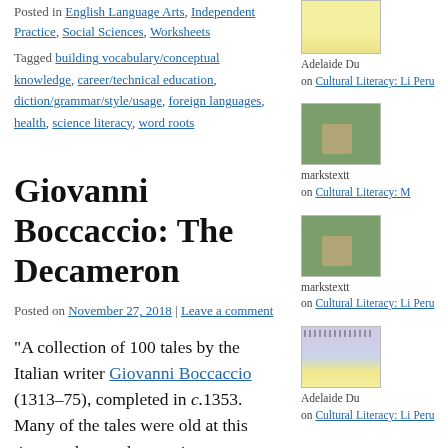Posted in English Language Arts, Independent Practice, Social Sciences, Worksheets
Tagged building vocabulary/conceptual knowledge, career/technical education, diction/grammar/style/usage, foreign languages, health, science literacy, word roots
Giovanni Boccaccio: The Decameron
Posted on November 27, 2018 | Leave a comment
“A collection of 100 tales by the Italian writer Giovanni Boccaccio (1313–75), completed in c.1353. Many of the tales were old at this time, and many later writers–including
[Figure (photo): Yellow/cream colored thumbnail image]
Adelaide Du on Cultural Literacy: Li Peru
[Figure (photo): Outdoor photo thumbnail showing green garden setting with furniture]
markstextt on Cultural Literacy: M
[Figure (photo): Outdoor photo thumbnail showing green garden setting with furniture]
markstextt on Cultural Literacy: Li Peru
[Figure (photo): Striped purple and yellow thumbnail image with dotted pattern at top]
Adelaide Du on Cultural Literacy: Li Peru